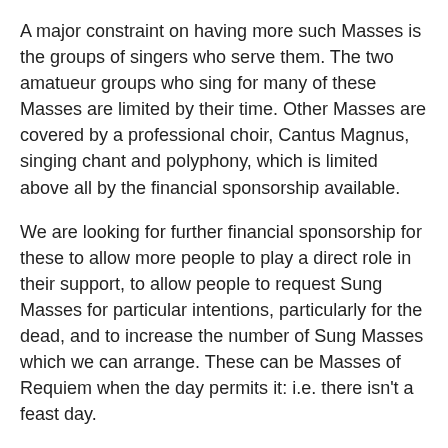A major constraint on having more such Masses is the groups of singers who serve them. The two amatueur groups who sing for many of these Masses are limited by their time. Other Masses are covered by a professional choir, Cantus Magnus, singing chant and polyphony, which is limited above all by the financial sponsorship available.
We are looking for further financial sponsorship for these to allow more people to play a direct role in their support, to allow people to request Sung Masses for particular intentions, particularly for the dead, and to increase the number of Sung Masses which we can arrange. These can be Masses of Requiem when the day permits it: i.e. there isn't a feast day.
(Requiem Masses can be celebrated on 4th Class feasts, and on third and even second class feasts on certain occasions, such as the anniversary of the day of death or burial.)
You can have a Mass celebrated for a particular intention for a small sum or as a favour very easily; the point of this idea